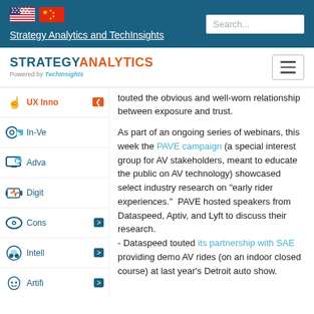Strategy Analytics and TechInsights
[Figure (logo): Strategy Analytics powered by TechInsights logo with hamburger menu]
touted the obvious and well-worn relationship between exposure and trust.
As part of an ongoing series of webinars, this week the PAVE campaign (a special interest group for AV stakeholders, meant to educate the public on AV technology) showcased select industry research on "early rider experiences."  PAVE hosted speakers from Dataspeed, Aptiv, and Lyft to discuss their research.
- Dataspeed touted its partnership with SAE providing demo AV rides (on an indoor closed course) at last year's Detroit auto show.